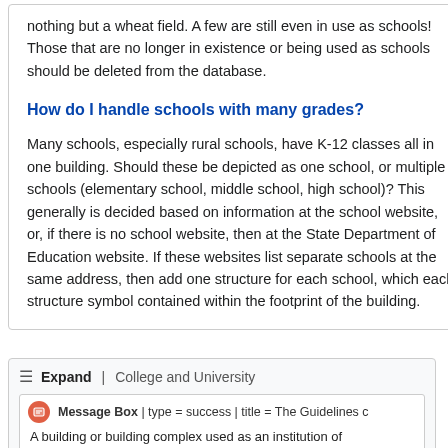nothing but a wheat field. A few are still even in use as schools! Those that are no longer in existence or being used as schools should be deleted from the database.
How do I handle schools with many grades?
Many schools, especially rural schools, have K-12 classes all in one building. Should these be depicted as one school, or multiple schools (elementary school, middle school, high school)? This generally is decided based on information at the school website, or, if there is no school website, then at the State Department of Education website. If these websites list separate schools at the same address, then add one structure for each school, which each structure symbol contained within the footprint of the building.
Expand | College and University
Message Box | type = success | title = The Guidelines c
A building or building complex used as an institution of